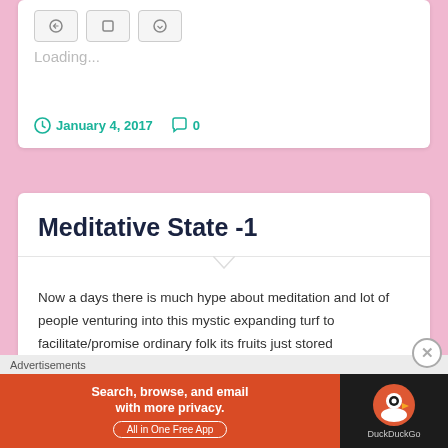Loading...
January 4, 2017   0
Meditative State -1
Now a days there is much hype about meditation and lot of people venturing into this mystic expanding turf to facilitate/promise ordinary folk its fruits just stored
Advertisements
[Figure (screenshot): DuckDuckGo advertisement banner: orange left section with text 'Search, browse, and email with more privacy. All in One Free App', dark right section with DuckDuckGo logo]